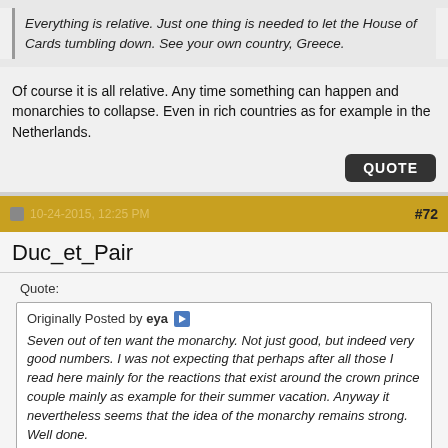Everything is relative. Just one thing is needed to let the House of Cards tumbling down. See your own country, Greece.
Of course it is all relative. Any time something can happen and monarchies to collapse. Even in rich countries as for example in the Netherlands.
QUOTE
10-24-2015, 12:25 PM  72
Duc_et_Pair
Quote:
Originally Posted by eya
Seven out of ten want the monarchy. Not just good, but indeed very good numbers. I was not expecting that perhaps after all those I read here mainly for the reactions that exist around the crown prince couple mainly as example for their summer vacation. Anyway it nevertheless seems that the idea of the monarchy remains strong. Well done.